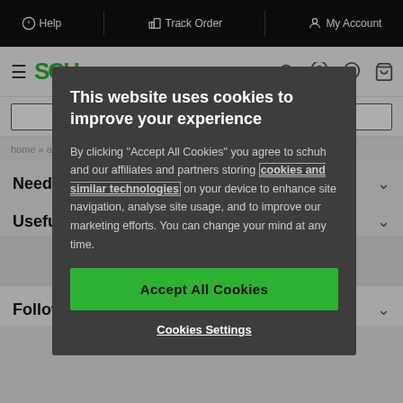Help | Track Order | My Account
[Figure (screenshot): Website header with hamburger menu, Schuh logo, search icon, wishlist icon, location icon, and shopping bag icon]
home » accessories » adidas multi bucket hat
This website uses cookies to improve your experience
By clicking "Accept All Cookies" you agree to schuh and our affiliates and partners storing cookies and similar technologies on your device to enhance site navigation, analyse site usage, and to improve our marketing efforts. You can change your mind at any time.
Accept All Cookies
Cookies Settings
Need help?
Useful Links
Follow us